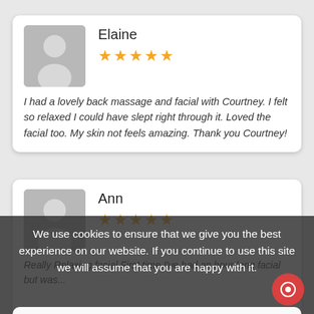[Figure (illustration): User avatar placeholder for Elaine (grey silhouette on grey background)]
Elaine
★★★★★
I had a lovely back massage and facial with Courtney. I felt so relaxed I could have slept right through it. Loved the facial too. My skin not feels amazing. Thank you Courtney!
[Figure (illustration): User avatar placeholder for Ann (grey silhouette on grey background)]
Ann
★★★★★
Really Relaxing facial First time I've had an hour long facial but was...
We use cookies to ensure that we give you the best experience on our website. If you continue to use this site we will assume that you are happy with it.
OK
Privacy Policy
[Figure (illustration): User avatar placeholder for Katherine (grey silhouette on grey background)]
Katherine
★★★